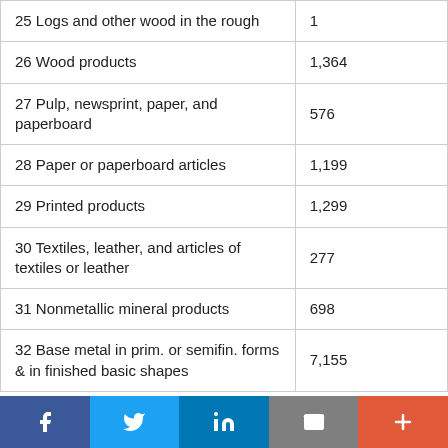| 25 Logs and other wood in the rough | 1 |
| 26 Wood products | 1,364 |
| 27 Pulp, newsprint, paper, and paperboard | 576 |
| 28 Paper or paperboard articles | 1,199 |
| 29 Printed products | 1,299 |
| 30 Textiles, leather, and articles of textiles or leather | 277 |
| 31 Nonmetallic mineral products | 698 |
| 32 Base metal in prim. or semifin. forms & in finished basic shapes | 7,155 |